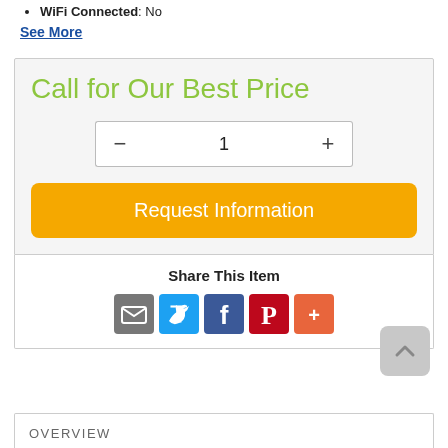WiFi Connected: No
See More
Call for Our Best Price
[Figure (other): Quantity selector with minus button, input showing 1, and plus button]
[Figure (other): Orange Request Information button]
Share This Item
[Figure (other): Social share icons: email (gray), Twitter (blue), Facebook (dark blue), Pinterest (red), More (orange-red)]
[Figure (other): Scroll to top button with upward arrow, gray rounded square]
OVERVIEW